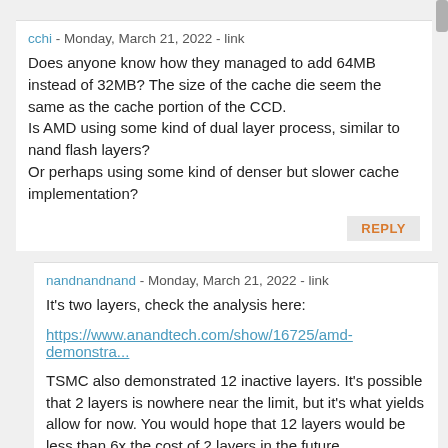cchi - Monday, March 21, 2022 - link
Does anyone know how they managed to add 64MB instead of 32MB? The size of the cache die seem the same as the cache portion of the CCD.
Is AMD using some kind of dual layer process, similar to nand flash layers?
Or perhaps using some kind of denser but slower cache implementation?
REPLY
nandnandnand - Monday, March 21, 2022 - link
It's two layers, check the analysis here:
https://www.anandtech.com/show/16725/amd-demonstra...
TSMC also demonstrated 12 inactive layers. It's possible that 2 layers is nowhere near the limit, but it's what yields allow for now. You would hope that 12 layers would be less than 6x the cost of 2 layers in the future.
Samsung also announced "X-Cube" 3D SRAM back in 2020, with an unknown amount of layers: